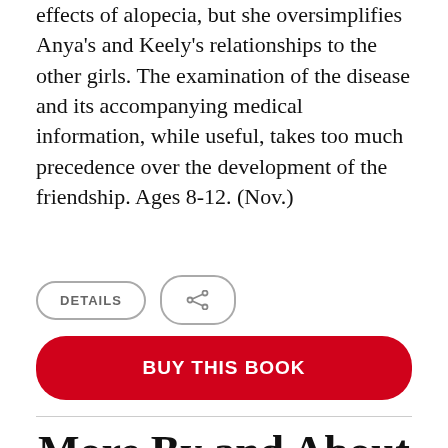effects of alopecia, but she oversimplifies Anya's and Keely's relationships to the other girls. The examination of the disease and its accompanying medical information, while useful, takes too much precedence over the development of the friendship. Ages 8-12. (Nov.)
[Figure (other): Two UI buttons: a rounded rectangle labeled DETAILS and a rounded rectangle with a share icon]
[Figure (other): Red rounded rectangle button labeled BUY THIS BOOK]
More By and About this
[Figure (photo): Dark gray/black image block partially visible at bottom of page]